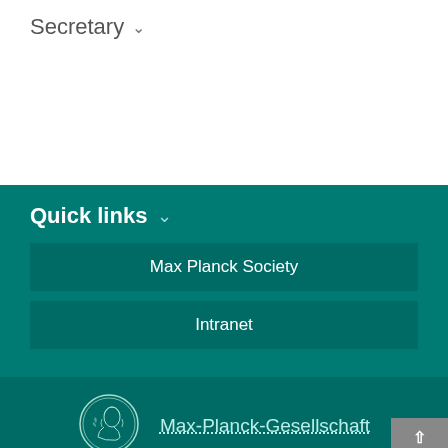Secretary ˅
Quick links ˅
Max Planck Society
Intranet
[Figure (logo): Max-Planck-Gesellschaft circular coin logo with a classical portrait]
Max-Planck-Gesellschaft
Imprint
Data Protection Advice
© 2022, Max-Planck-Gesellschaft